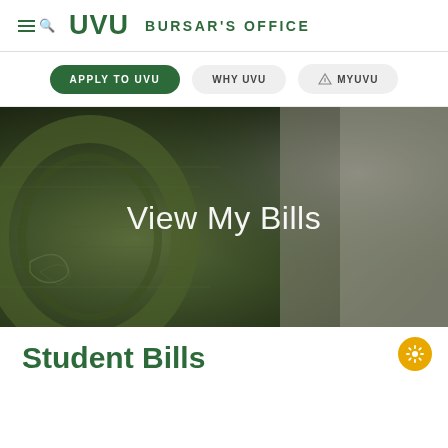UVU BURSAR'S OFFICE
APPLY TO UVU
WHY UVU
MYUVU
[Figure (photo): Close-up macro photo of a US dollar bill showing the zero of a denomination, with dark green tones; text overlay reads 'View My Bills']
Student Bills